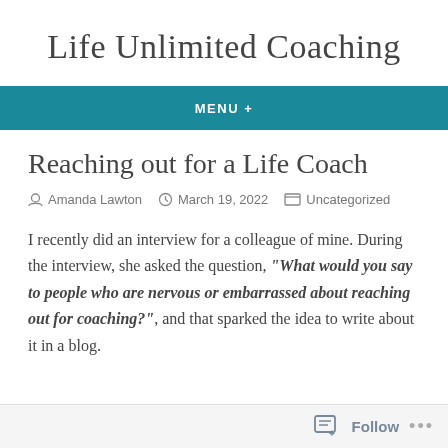Life Unlimited Coaching
MENU +
Reaching out for a Life Coach
Amanda Lawton  March 19, 2022  Uncategorized
I recently did an interview for a colleague of mine. During the interview, she asked the question, “What would you say to people who are nervous or embarrassed about reaching out for coaching?”, and that sparked the idea to write about it in a blog.
Follow ...